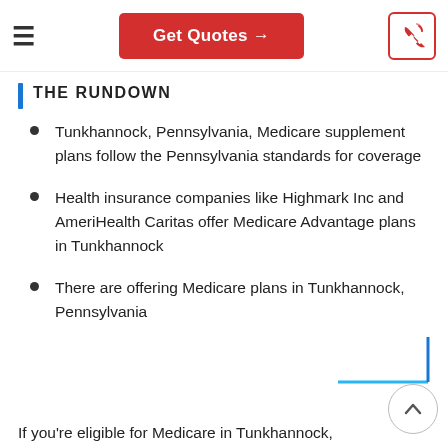Get Quotes →
THE RUNDOWN
Tunkhannock, Pennsylvania, Medicare supplement plans follow the Pennsylvania standards for coverage
Health insurance companies like Highmark Inc and AmeriHealth Caritas offer Medicare Advantage plans in Tunkhannock
There are offering Medicare plans in Tunkhannock, Pennsylvania
If you're eligible for Medicare in Tunkhannock,